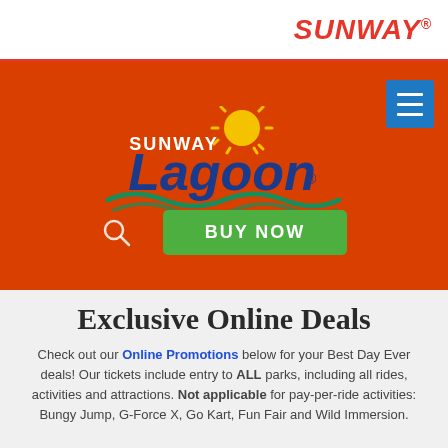SUNWAY®
[Figure (logo): Sunway Lagoon Malaysia logo on orange background with sun and wave design, plus a green BUY NOW button and search icon]
Exclusive Online Deals
Check out our Online Promotions below for your Best Day Ever deals! Our tickets include entry to ALL parks, including all rides, activities and attractions. Not applicable for pay-per-ride activities: Bungy Jump, G-Force X, Go Kart, Fun Fair and Wild Immersion.